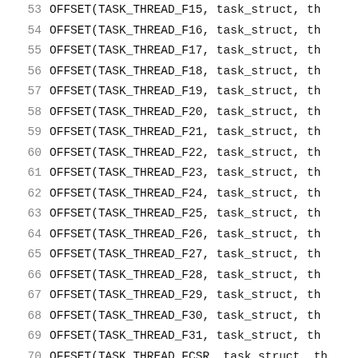Code listing lines 53-73 showing OFFSET macro calls for TASK_THREAD_F15 through TASK_THREAD_FCSR, plus #ifdef CONFIG_STACKPROTECTOR, OFFSET(TSK_STACK_CANARY, task_struct, s...), and #endif